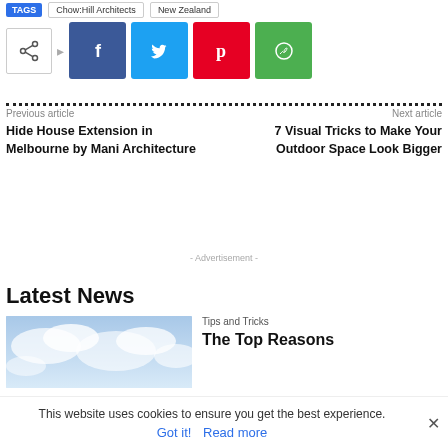TAGS  Chow:Hill Architects  New Zealand
[Figure (infographic): Social share buttons row: share icon box, arrow, Facebook (blue), Twitter (cyan), Pinterest (red), WhatsApp (green)]
Previous article
Hide House Extension in Melbourne by Mani Architecture
Next article
7 Visual Tricks to Make Your Outdoor Space Look Bigger
- Advertisement -
Latest News
[Figure (photo): Thumbnail photo showing a light blue sky with soft white clouds]
Tips and Tricks
The Top Reasons
This website uses cookies to ensure you get the best experience.
Got it!  Read more